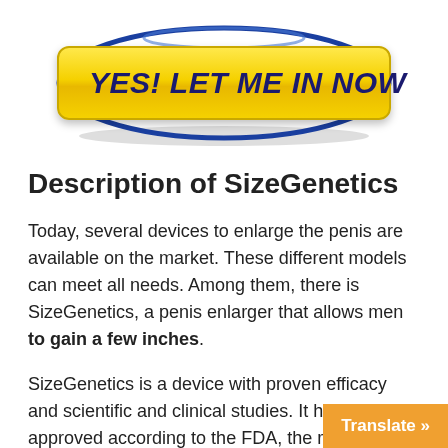[Figure (other): Yellow button with bold italic text 'YES! LET ME IN NOW' inside a blue oval outline, on a white background]
Description of SizeGenetics
Today, several devices to enlarge the penis are available on the market. These different models can meet all needs. Among them, there is SizeGenetics, a penis enlarger that allows men to gain a few inches.
SizeGenetics is a device with proven efficacy and scientific and clinical studies. It has been approved according to the FDA, the regulatory body in the USA.